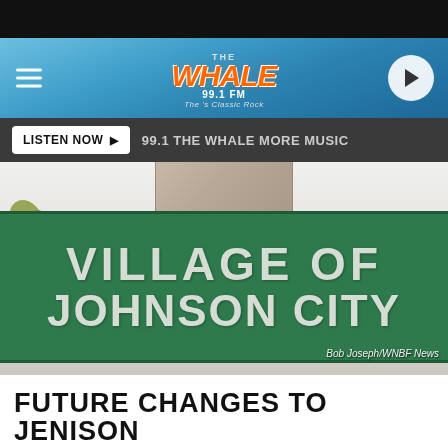[Figure (logo): 99.1 The Whale classic rock radio station logo with mascot character on blue gradient navigation bar with hamburger menu and play button]
LISTEN NOW ▶  99.1 THE WHALE MORE MUSIC
[Figure (photo): Photo of a green Village of Johnson City road sign mounted on a stone/concrete column against a sky background. Photo credit: Bob Joseph/WNBF News]
FUTURE CHANGES TO JENISON